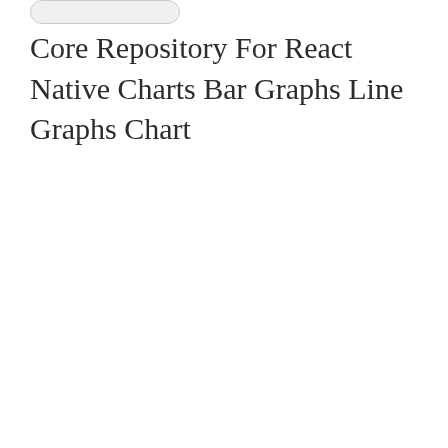[Figure (logo): A pill-shaped logo/badge element at the top of the page]
Core Repository For React Native Charts Bar Graphs Line Graphs Chart